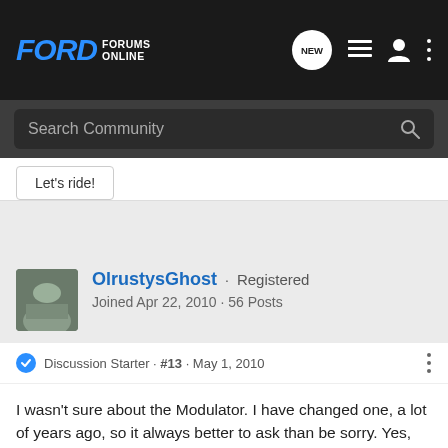FORD FORUMS ONLINE
Search Community
Let's ride!
OlrustysGhost · Registered
Joined Apr 22, 2010 · 56 Posts
Discussion Starter · #13 · May 1, 2010
I wasn't sure about the Modulator. I have changed one, a lot of years ago, so it always better to ask than be sorry. Yes, very good advicve to tilt the transmission foward! Going the other way would not be a good thing!
So, we still don't know what transmission that is in it?
Bye the way, what's an FMX?